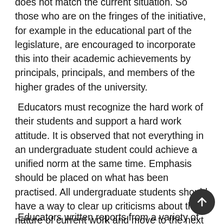does not match the current situation. So those who are on the fringes of the initiative, for example in the educational part of the legislature, are encouraged to incorporate this into their academic achievements by principals, principals, and members of the higher grades of the university.
Educators must recognize the hard work of their students and support a hard work attitude. It is observed that not everything in an undergraduate student could achieve a unified norm at the same time. Emphasis should be placed on what has been practised. All undergraduate students should have a way to clear up criticisms about the nature of current work and move to the next level of learni
Educators written reports from a variety of phone